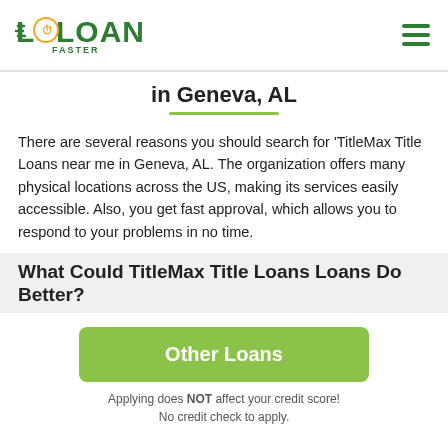[Figure (logo): Loans Faster logo with green text and clock icon]
in Geneva, AL
There are several reasons you should search for 'TitleMax Title Loans near me in Geneva, AL. The organization offers many physical locations across the US, making its services easily accessible. Also, you get fast approval, which allows you to respond to your problems in no time.
What Could TitleMax Title Loans Loans Do Better?
Other Loans
Applying does NOT affect your credit score! No credit check to apply.